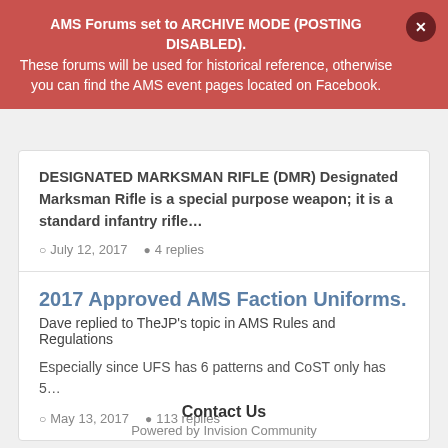AMS Forums set to ARCHIVE MODE (POSTING DISABLED). These forums will be used for historical reference, otherwise you can find the AMS event pages located on Facebook.
DESIGNATED MARKSMAN RIFLE (DMR) Designated Marksman Rifle is a special purpose weapon; it is a standard infantry rifle...
July 12, 2017  4 replies
2017 Approved AMS Faction Uniforms.
Dave replied to TheJP's topic in AMS Rules and Regulations
Especially since UFS has 6 patterns and CoST only has 5...
May 13, 2017  113 replies
Contact Us
Powered by Invision Community